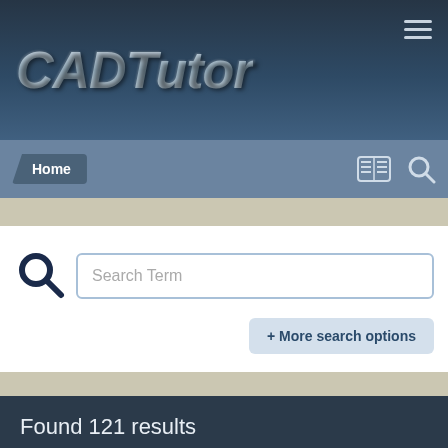CADTutor
Home
Search Term
+ More search options
Found 121 results
« PREV   Page 1 of 5   NEXT »
SORT BY